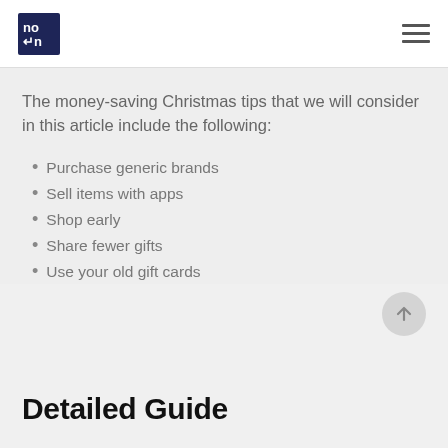no+n logo and hamburger menu
The money-saving Christmas tips that we will consider in this article include the following:
Purchase generic brands
Sell items with apps
Shop early
Share fewer gifts
Use your old gift cards
Detailed Guide